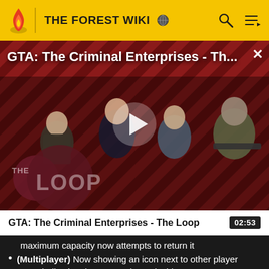THE FOREST WIKI
[Figure (screenshot): GTA: The Criminal Enterprises - The Loop video thumbnail with play button, showing game characters on a red and black diagonal stripe background, with The Loop logo overlay]
GTA: The Criminal Enterprises - The Loop  02:53
maximum capacity now attempts to return it
(Multiplayer) Now showing an icon next to other player name indicating they currently are inside a